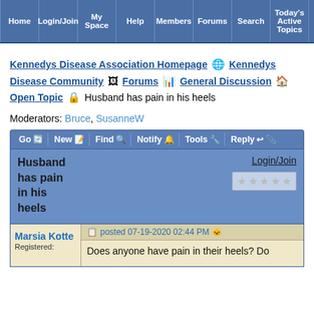Home | Login/Join | My Space | Help | Members | Forums | Search | Today's Active Topics | New Since Last Visit
Kennedys Disease Association Homepage 🌐 Kennedys Disease Community 🖼 Forums 📊 General Discussion 🏠 Open Topic 🔒 Husband has pain in his heels
Moderators: Bruce, SusanneW
Go | New | Find | Notify | Tools | Reply
Husband has pain in his heels
Login/Join
Marsia Kotte Registered:
posted 07-19-2020 02:44 PM
Does anyone have pain in their heels? Do